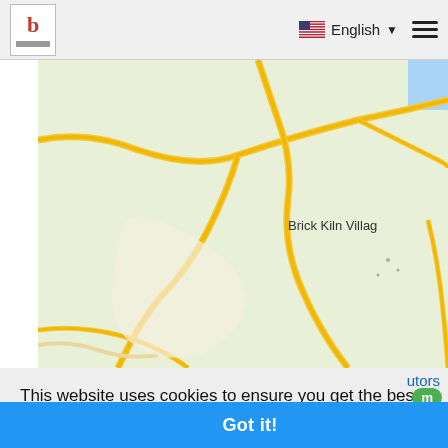[Figure (screenshot): Website navigation bar with logo 'b', English language selector with US flag, and hamburger menu icon]
[Figure (map): Google Maps style map showing roads and green areas near Brick Kiln Village]
This website uses cookies to ensure you get the best experience on our website.
Learn more
Got it!
2  Brookes Gas Station (no operator)  6077 m